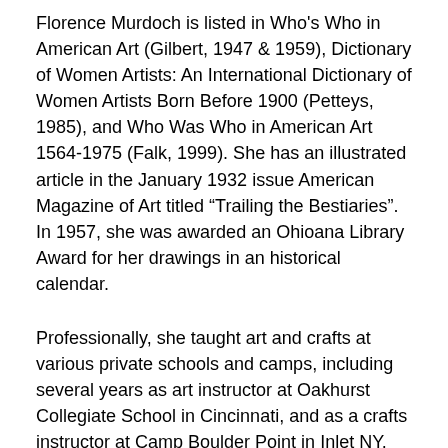Florence Murdoch is listed in Who's Who in American Art (Gilbert, 1947 & 1959), Dictionary of Women Artists: An International Dictionary of Women Artists Born Before 1900 (Petteys, 1985), and Who Was Who in American Art 1564-1975 (Falk, 1999). She has an illustrated article in the January 1932 issue American Magazine of Art titled “Trailing the Bestiaries”. In 1957, she was awarded an Ohioana Library Award for her drawings in an historical calendar.
Professionally, she taught art and crafts at various private schools and camps, including several years as art instructor at Oakhurst Collegiate School in Cincinnati, and as a crafts instructor at Camp Boulder Point in Inlet NY. She was also the organizer and director of the Junior Artist Clubs in Cincinnati.